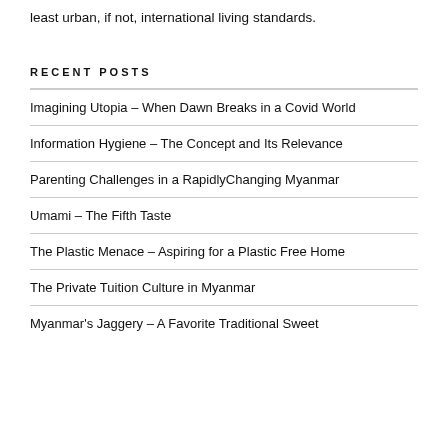least urban, if not, international living standards.
RECENT POSTS
Imagining Utopia – When Dawn Breaks in a Covid World
Information Hygiene – The Concept and Its Relevance
Parenting Challenges in a RapidlyChanging Myanmar
Umami – The Fifth Taste
The Plastic Menace – Aspiring for a Plastic Free Home
The Private Tuition Culture in Myanmar
Myanmar's Jaggery – A Favorite Traditional Sweet